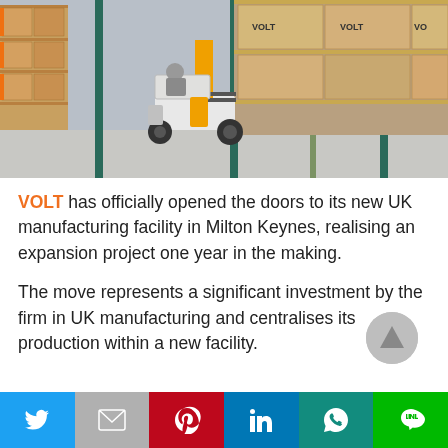[Figure (photo): Warehouse interior showing a forklift driver operating an orange/white forklift among tall shelving racks stacked with large cardboard boxes labeled VOLT]
VOLT has officially opened the doors to its new UK manufacturing facility in Milton Keynes, realising an expansion project one year in the making.
The move represents a significant investment by the firm in UK manufacturing and centralises its production within a new facility.
[Figure (infographic): Social sharing bar with six buttons: Twitter (blue), Gmail/Mail (grey), Pinterest (red), LinkedIn (blue), WhatsApp (teal), Line (green)]